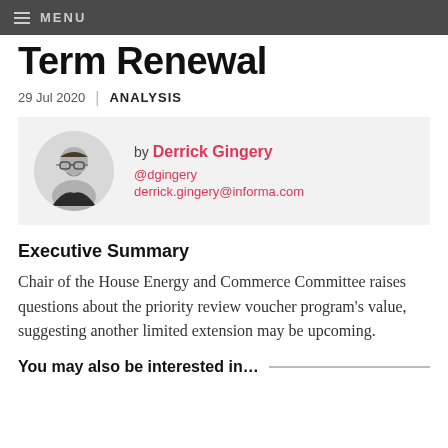MENU
Term Renewal
29 Jul 2020 | ANALYSIS
[Figure (photo): Author photo of Derrick Gingery with name, Twitter handle @dgingery and email derrick.gingery@informa.com]
Executive Summary
Chair of the House Energy and Commerce Committee raises questions about the priority review voucher program's value, suggesting another limited extension may be upcoming.
You may also be interested in…